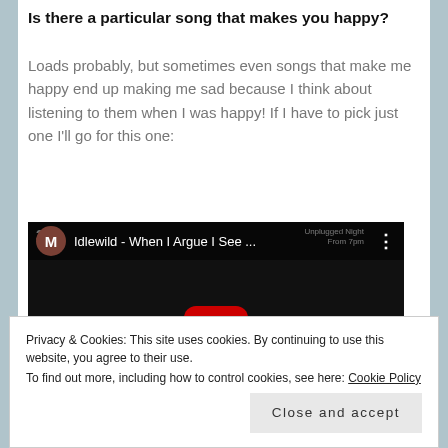Is there a particular song that makes you happy?
Loads probably, but sometimes even songs that make me happy end up making me sad because I think about listening to them when I was happy! If I have to pick just one I'll go for this one:
[Figure (screenshot): YouTube video thumbnail showing a dark image of a person's face with the video title 'Idlewild - When I Argue I See ...' and a red play button in the center. The video bar shows an avatar M and channel info.]
Privacy & Cookies: This site uses cookies. By continuing to use this website, you agree to their use.
To find out more, including how to control cookies, see here: Cookie Policy
Close and accept